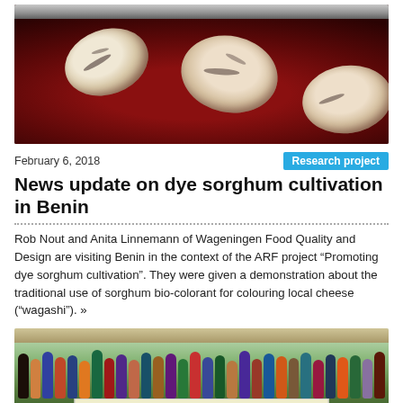[Figure (photo): Top-down view of a dark red dye pot (cooking vessel) containing sorghum bio-colorant liquid with pieces of local cheese ('wagashi') floating in the red liquid.]
February 6, 2018
Research project
News update on dye sorghum cultivation in Benin
Rob Nout and Anita Linnemann of Wageningen Food Quality and Design are visiting Benin in the context of the ARF project “Promoting dye sorghum cultivation”. They were given a demonstration about the traditional use of sorghum bio-colorant for colouring local cheese (“wagashi”). »
[Figure (photo): Group photo of a large number of people (approximately 50+) posing together outdoors under a pergola, holding a banner related to a project in Benin. Includes both African and European participants.]